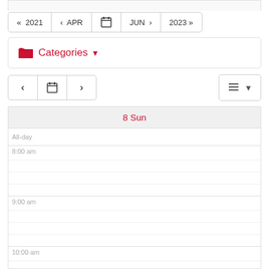[Figure (screenshot): Calendar navigation bar with year/month controls showing «2021, ‹APR, calendar icon, JUN›, 2023»]
[Figure (screenshot): Categories dropdown button with red folder icon]
[Figure (screenshot): Day navigation controls with previous, calendar, next buttons and a list view toggle button]
8 Sun
All-day
8:00 am
9:00 am
10:00 am
11:00 am
12:00 pm